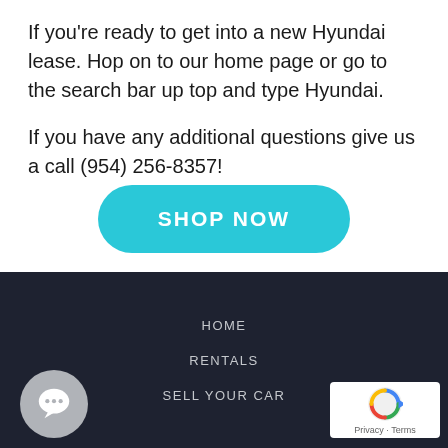If you’re ready to get into a new Hyundai lease. Hop on to our home page or go to the search bar up top and type Hyundai.
If you have any additional questions give us a call (954) 256-8357!
[Figure (other): Cyan rounded button with text SHOP NOW]
HOME
RENTALS
SELL YOUR CAR